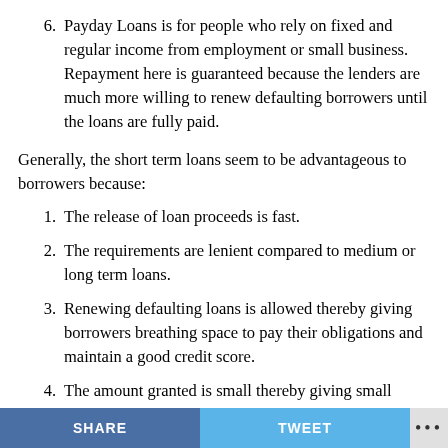6. Payday Loans is for people who rely on fixed and regular income from employment or small business. Repayment here is guaranteed because the lenders are much more willing to renew defaulting borrowers until the loans are fully paid.
Generally, the short term loans seem to be advantageous to borrowers because:
1. The release of loan proceeds is fast.
2. The requirements are lenient compared to medium or long term loans.
3. Renewing defaulting loans is allowed thereby giving borrowers breathing space to pay their obligations and maintain a good credit score.
4. The amount granted is small thereby giving small
SHARE   TWEET   •••